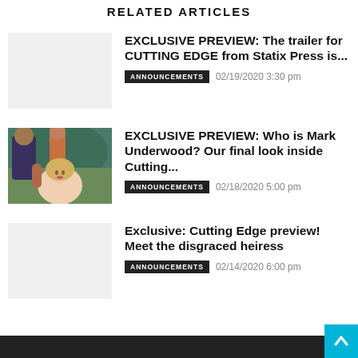RELATED ARTICLES
[Figure (photo): Light gray placeholder thumbnail image]
EXCLUSIVE PREVIEW: The trailer for CUTTING EDGE from Statix Press is...
ANNOUNCEMENTS  02/19/2020 3:30 pm
[Figure (illustration): Colorful illustrated artwork showing stylized figures in an outdoor scene]
EXCLUSIVE PREVIEW: Who is Mark Underwood? Our final look inside Cutting...
ANNOUNCEMENTS  02/18/2020 5:00 pm
[Figure (photo): Light gray placeholder thumbnail image]
Exclusive: Cutting Edge preview! Meet the disgraced heiress
ANNOUNCEMENTS  02/14/2020 6:00 pm